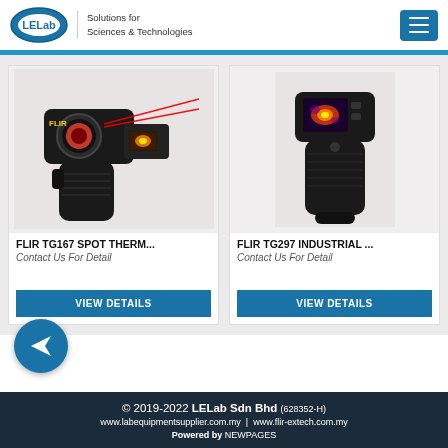LELab Solutions for Sciences & Technologies
[Figure (photo): FLIR TG167 Spot Thermometer - black handheld thermal camera with red laser beams shown]
FLIR TG167 SPOT THERM...
Contact Us For Detail
VIEW DETAILS
[Figure (photo): FLIR TG297 Industrial thermal camera - compact black handheld device with thermal image on screen]
FLIR TG297 INDUSTRIAL ...
Contact Us For Detail
VIEW DETAILS
© 2019-2022 LELab Sdn Bhd (628352-H)
www.labequipmentsupplier.com.my | www.flir-extech.com.my
Powered by NEWPAGES